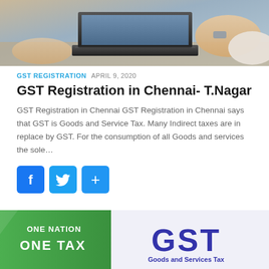[Figure (photo): Person working on a laptop computer, cropped view from above showing hands and keyboard]
GST REGISTRATION  APRIL 9, 2020
GST Registration in Chennai- T.Nagar
GST Registration in Chennai GST Registration in Chennai says that GST is Goods and Service Tax. Many Indirect taxes are in replace by GST. For the consumption of all Goods and services the sole…
[Figure (illustration): Social sharing buttons: Facebook (f), Twitter (bird), and Share (+) icons in blue rounded squares]
[Figure (infographic): GST banner: green left panel with 'ONE NATION ONE TAX' text and right panel with large 'GST' text and 'Goods and Services Tax' subtitle on light background]